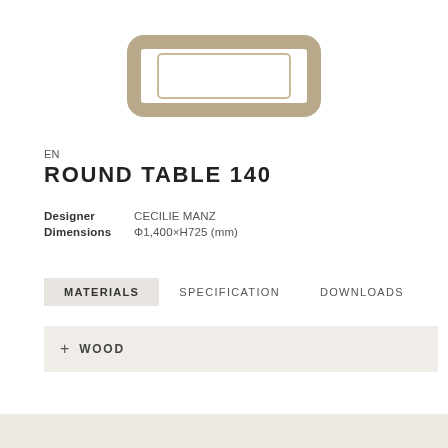[Figure (illustration): Partial top view of a round table with a beige/tan finish, showing the tabletop frame/edge from above]
EN
ROUND TABLE 140
Designer   CECILIE MANZ
Dimensions   Φ1,400×H725 (mm)
MATERIALS   SPECIFICATION   DOWNLOADS
+ WOOD